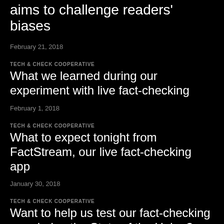aims to challenge readers' biases
February 21, 2018
TECH & CHECK COOPERATIVE
What we learned during our experiment with live fact-checking
February 1, 2018
TECH & CHECK COOPERATIVE
What to expect tonight from FactStream, our live fact-checking app
January 30, 2018
TECH & CHECK COOPERATIVE
Want to help us test our fact-checking app during the State of the Union?
January 26, 2018
UNCATEGORIZED
Bloomberg editor discusses Greek life at